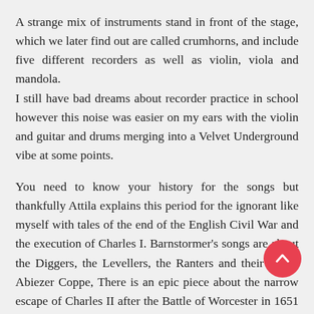A strange mix of instruments stand in front of the stage, which we later find out are called crumhorns, and include five different recorders as well as violin, viola and mandola. I still have bad dreams about recorder practice in school however this noise was easier on my ears with the violin and guitar and drums merging into a Velvet Underground vibe at some points.
You need to know your history for the songs but thankfully Attila explains this period for the ignorant like myself with tales of the end of the English Civil War and the execution of Charles I. Barnstormer's songs are about the Diggers, the Levellers, the Ranters and their leader Abiezer Coppe, There is an epic piece about the narrow escape of Charles II after the Battle of Worcester in 1651 in a coal boat which sailed from the end